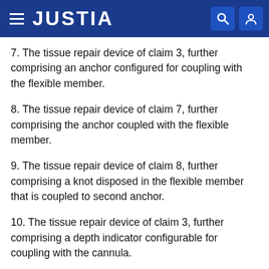JUSTIA
7. The tissue repair device of claim 3, further comprising an anchor configured for coupling with the flexible member.
8. The tissue repair device of claim 7, further comprising the anchor coupled with the flexible member.
9. The tissue repair device of claim 8, further comprising a knot disposed in the flexible member that is coupled to second anchor.
10. The tissue repair device of claim 3, further comprising a depth indicator configurable for coupling with the cannula.
11. The tissue repair device of claim 10, wherein the depth indicator is configured to limit insertion depth of a needle into the tissue.